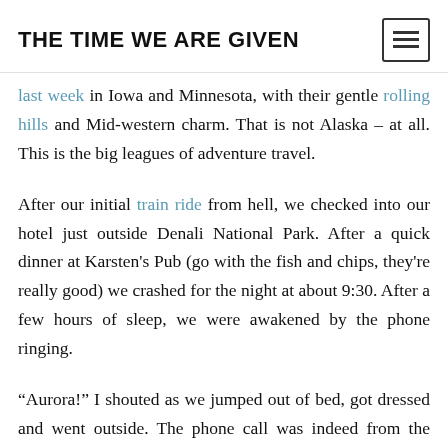THE TIME WE ARE GIVEN
last week in Iowa and Minnesota, with their gentle rolling hills and Mid-western charm. That is not Alaska – at all. This is the big leagues of adventure travel.
After our initial train ride from hell, we checked into our hotel just outside Denali National Park. After a quick dinner at Karsten's Pub (go with the fish and chips, they're really good) we crashed for the night at about 9:30. After a few hours of sleep, we were awakened by the phone ringing.
“Aurora!” I shouted as we jumped out of bed, got dressed and went outside. The phone call was indeed from the front desk, telling us to go outside and look